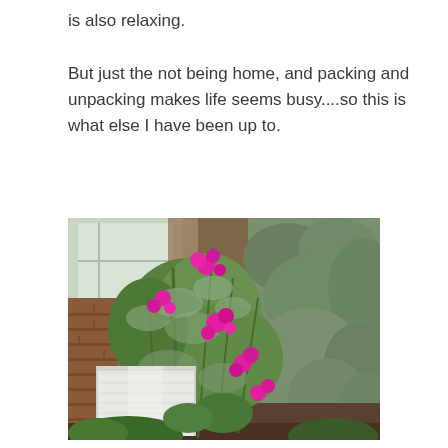is also relaxing. But just the not being home, and packing and unpacking makes life seems busy....so this is what else I have been up to.
[Figure (photo): Outdoor garden photo showing pink flowering plants (roses and other blooms) growing in front of a brick wall and white window frame, with grey-green shrubs in the background and a white painted wooden box/planter in the lower left.]